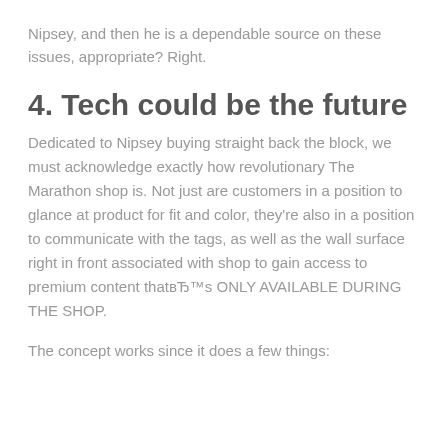Nipsey, and then he is a dependable source on these issues, appropriate? Right.
4. Tech could be the future
Dedicated to Nipsey buying straight back the block, we must acknowledge exactly how revolutionary The Marathon shop is. Not just are customers in a position to glance at product for fit and color, they're also in a position to communicate with the tags, as well as the wall surface right in front associated with shop to gain access to premium content thatвЂ™s ONLY AVAILABLE DURING THE SHOP.
The concept works since it does a few things: